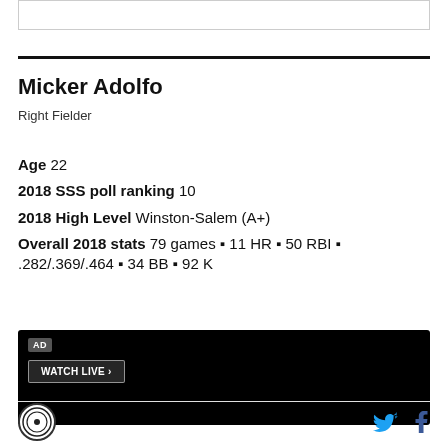Micker Adolfo
Right Fielder
Age 22
2018 SSS poll ranking 10
2018 High Level Winston-Salem (A+)
Overall 2018 stats 79 games • 11 HR • 50 RBI • .282/.369/.464 • 34 BB • 92 K
[Figure (other): Advertisement box with AD label and WATCH LIVE button on dark background]
Logo icon, Twitter share icon, Facebook share icon